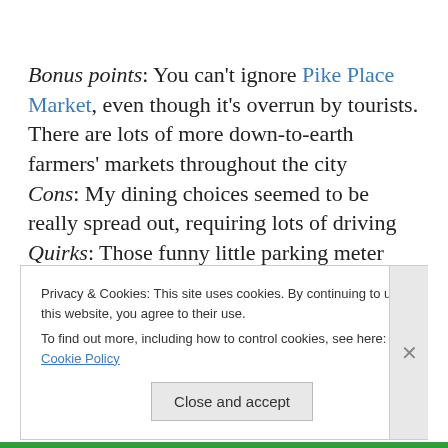Bonus points: You can't ignore Pike Place Market, even though it's overrun by tourists. There are lots of more down-to-earth farmers' markets throughout the city Cons: My dining choices seemed to be really spread out, requiring lots of driving Quirks: Those funny little parking meter stickers you have to attach to side windows. All those residential streets with little, vegetated peninsulas and circles that give your
Privacy & Cookies: This site uses cookies. By continuing to use this website, you agree to their use.
To find out more, including how to control cookies, see here: Cookie Policy